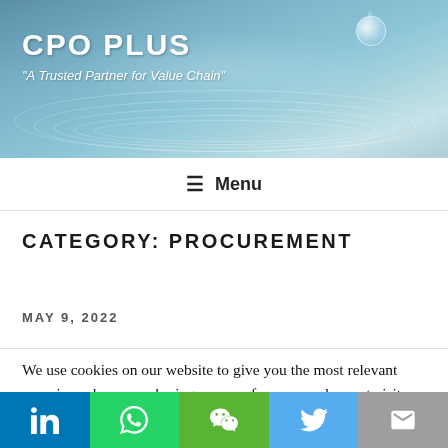CPO PLUS — "A Trusted Partner for Value Chain"
≡ Menu
CATEGORY: PROCUREMENT
MAY 9, 2022
We use cookies on our website to give you the most relevant experience by remembering your preferences and repeat visits. By clicking "Accept All", you consent to the use of ALL the cookies. However, you may visit "Cookie Settings" to provide a controlled consent.
LinkedIn WhatsApp WeChat Twitter Email